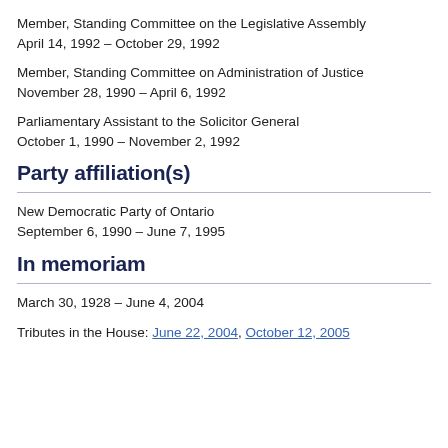Member, Standing Committee on the Legislative Assembly
April 14, 1992 – October 29, 1992
Member, Standing Committee on Administration of Justice
November 28, 1990 – April 6, 1992
Parliamentary Assistant to the Solicitor General
October 1, 1990 – November 2, 1992
Party affiliation(s)
New Democratic Party of Ontario
September 6, 1990 – June 7, 1995
In memoriam
March 30, 1928 – June 4, 2004
Tributes in the House: June 22, 2004, October 12, 2005